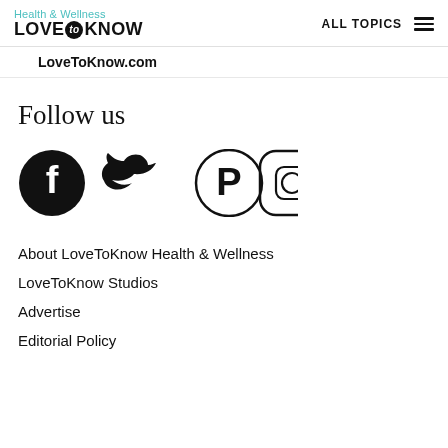Health & Wellness LoveToKnow — ALL TOPICS
LoveToKnow.com
Follow us
[Figure (illustration): Social media icons: Facebook, Twitter, Pinterest, Instagram]
About LoveToKnow Health & Wellness
LoveToKnow Studios
Advertise
Editorial Policy